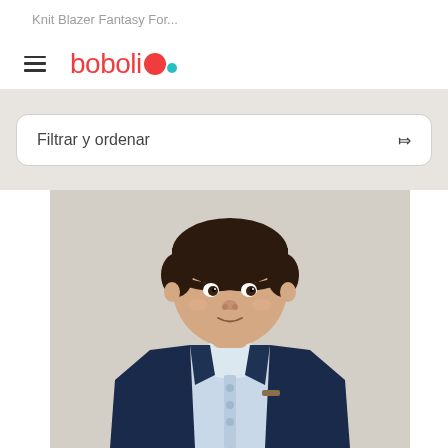Knit Blazer Fantasy For...
[Figure (logo): Boboli brand logo with red text 'boboli' and red circle dot with smaller teal dot]
Filtrar y ordenar
[Figure (photo): Young toddler boy with dark hair, wearing a navy blue knit blazer over a light blue collared shirt, photographed against a light grey/beige background. The child is looking directly at the camera.]